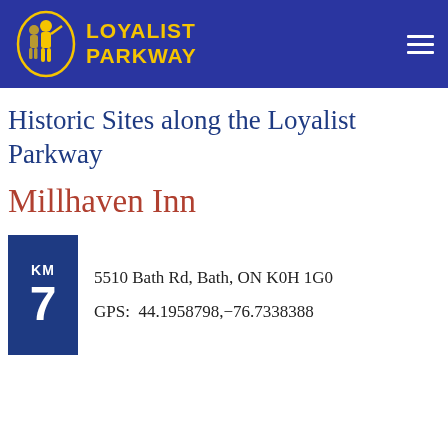LOYALIST PARKWAY
Historic Sites along the Loyalist Parkway
Millhaven Inn
KM 7
5510 Bath Rd, Bath, ON K0H 1G0
GPS:  44.1958798,-76.7338388